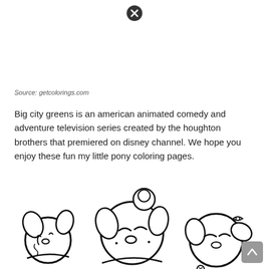[Figure (other): Close/dismiss button icon — a dark circle with an X]
Source: getcolorings.com
Big city greens is an american animated comedy and adventure television series created by the houghton brothers that premiered on disney channel. We hope you enjoy these fun my little pony coloring pages.
[Figure (illustration): Coloring page illustration of three cute cartoon dog/puppy characters with round faces, closed smiling eyes, and floppy ears, drawn in black outline style]
[Figure (other): Scroll-to-top button in bottom right corner — grey rounded square with an upward arrow]